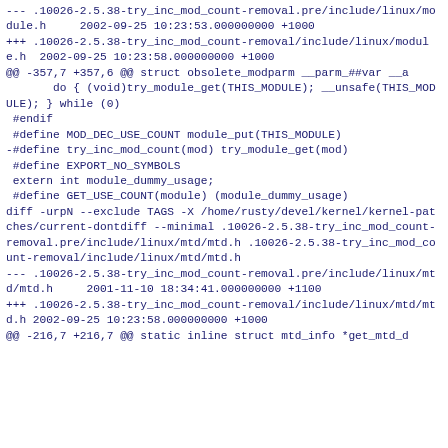--- .10026-2.5.38-try_inc_mod_count-removal.pre/include/linux/module.h	2002-09-25 10:23:53.000000000 +1000
+++ .10026-2.5.38-try_inc_mod_count-removal/include/linux/module.h  2002-09-25 10:23:58.000000000 +1000
@@ -357,7 +357,6 @@ struct obsolete_modparm __parm_##var __a
        do { (void)try_module_get(THIS_MODULE); __unsafe(THIS_MODULE); } while (0)
 #endif
 #define MOD_DEC_USE_COUNT module_put(THIS_MODULE)
-#define try_inc_mod_count(mod) try_module_get(mod)
 #define EXPORT_NO_SYMBOLS
 extern int module_dummy_usage;
 #define GET_USE_COUNT(module) (module_dummy_usage)
diff -urpN --exclude TAGS -X /home/rusty/devel/kernel/kernel-patches/current-dontdiff --minimal .10026-2.5.38-try_inc_mod_count-removal.pre/include/linux/mtd/mtd.h .10026-2.5.38-try_inc_mod_count-removal/include/linux/mtd/mtd.h
--- .10026-2.5.38-try_inc_mod_count-removal.pre/include/linux/mtd/mtd.h	2001-11-10 18:34:41.000000000 +1100
+++ .10026-2.5.38-try_inc_mod_count-removal/include/linux/mtd/mtd.h 2002-09-25 10:23:58.000000000 +1000
@@ -216,7 +216,7 @@ static inline struct mtd_info *get_mtd_d